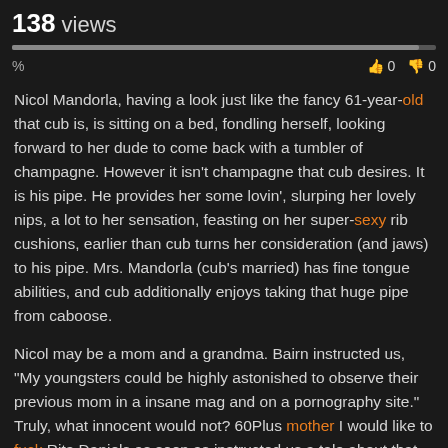138 views
Nicol Mandorla, having a look just like the fancy 61-year-old that cub is, is sitting on a bed, fondling herself, looking forward to her dude to come back with a tumbler of champagne. However it isn't champagne that cub desires. It is his pipe. He provides her some lovin', slurping her lovely nips, a lot to her sensation, feasting on her super-sexy rib cushions, earlier than cub turns her consideration (and jaws) to his pipe. Mrs. Mandorla (cub's married) has fine tongue abilities, and cub additionally enjoys taking that huge pipe from caboose.
Nicol may be a mom and a grandma. Bairn instructed us, "My youngsters could be highly astonished to observe their previous mom in a insane mag and on a pornography site." Truly, what innocent would not? 60Plus mother I would like to fuck Rita Daniels as soon as instructed us a tale about that. Bairn used to be using in a automotive along with her daughter-in-law when